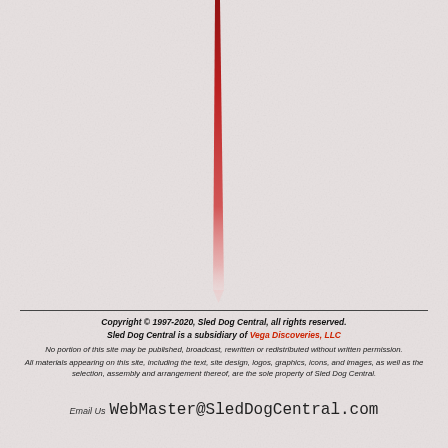[Figure (illustration): A thin needle or pin shape with a dark red/crimson top fading to pale pink at the bottom tip, positioned vertically slightly left of center, against a textured off-white/light grey paper or leather background.]
Copyright © 1997-2020, Sled Dog Central, all rights reserved.
Sled Dog Central is a subsidiary of Vega Discoveries, LLC
No portion of this site may be published, broadcast, rewritten or redistributed without written permission.
All materials appearing on this site, including the text, site design, logos, graphics, icons, and images, as well as the selection, assembly and arrangement thereof, are the sole property of Sled Dog Central.
Email Us  WebMaster@SledDogCentral.com